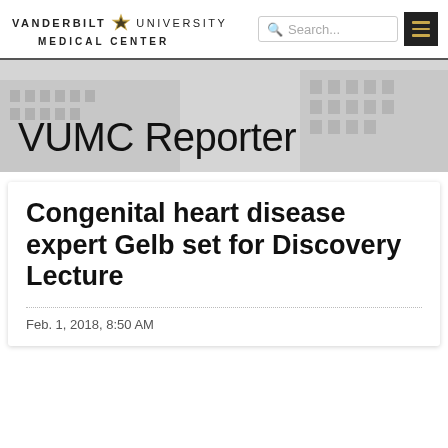VANDERBILT UNIVERSITY MEDICAL CENTER
[Figure (screenshot): VUMC Reporter banner with building background image]
Congenital heart disease expert Gelb set for Discovery Lecture
Feb. 1, 2018, 8:50 AM